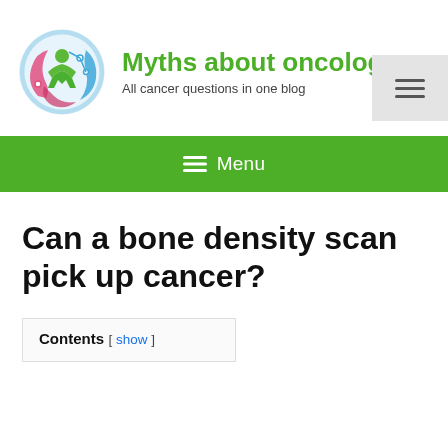[Figure (logo): Circular logo with a stylized human figure in green, surrounded by pink and blue swirling shapes with circuit-like dots, representing a medical/oncology blog]
Myths about oncology
All cancer questions in one blog
[Figure (other): Hamburger menu icon (three horizontal lines) in a light grey box, top-right corner]
[Figure (other): Green navigation bar with white hamburger icon and Menu text label]
Can a bone density scan pick up cancer?
Contents [ show ]